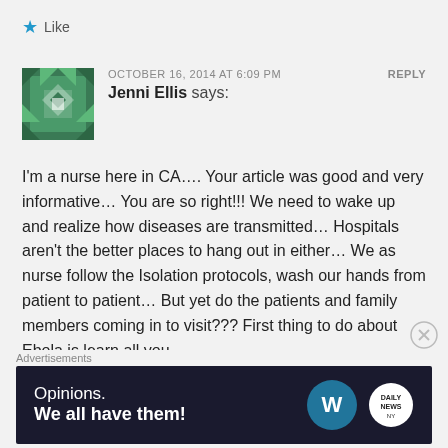★ Like
[Figure (illustration): Green and white geometric avatar icon]
OCTOBER 16, 2014 AT 6:09 PM
REPLY
Jenni Ellis says:
I'm a nurse here in CA…. Your article was good and very informative… You are so right!!! We need to wake up and realize how diseases are transmitted… Hospitals aren't the better places to hang out in either… We as nurse follow the Isolation protocols, wash our hands from patient to patient… But yet do the patients and family members coming in to visit??? First thing to do about Ebola is learn all you
Advertisements
[Figure (infographic): Dark navy advertisement banner reading 'Opinions. We all have them!' with WordPress and Daily News logos]